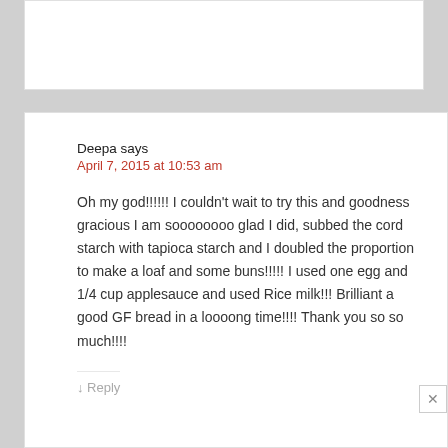Deepa says
April 7, 2015 at 10:53 am
Oh my god!!!!!! I couldn't wait to try this and goodness gracious I am soooooooo glad I did, subbed the cord starch with tapioca starch and I doubled the proportion to make a loaf and some buns!!!!! I used one egg and 1/4 cup applesauce and used Rice milk!!! Brilliant a good GF bread in a loooong time!!!! Thank you so so much!!!!
Reply